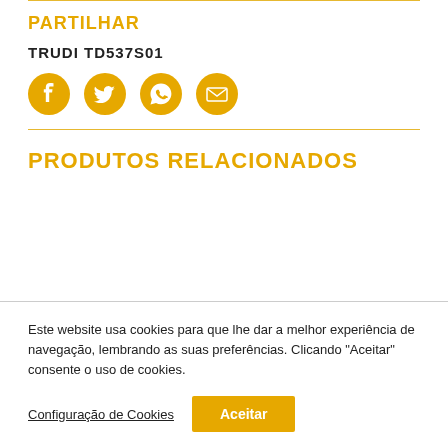PARTILHAR
TRUDI TD537S01
[Figure (infographic): Four social sharing icons in orange/amber color: Facebook, Twitter, WhatsApp, Email]
PRODUTOS RELACIONADOS
Este website usa cookies para que lhe dar a melhor experiência de navegação, lembrando as suas preferências. Clicando "Aceitar" consente o uso de cookies.
Configuração de Cookies   Aceitar